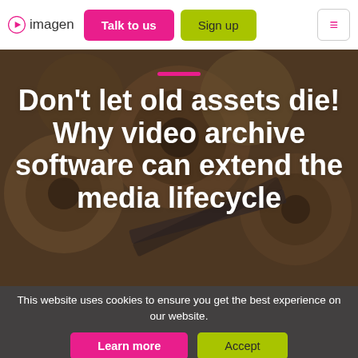imagen | Talk to us | Sign up
[Figure (photo): Background image of stacked old rusty film reels and canisters, with a dark overlay. A pink horizontal accent bar appears above the title text.]
Don't let old assets die! Why video archive software can extend the media lifecycle
This website uses cookies to ensure you get the best experience on our website.
Learn more | Accept